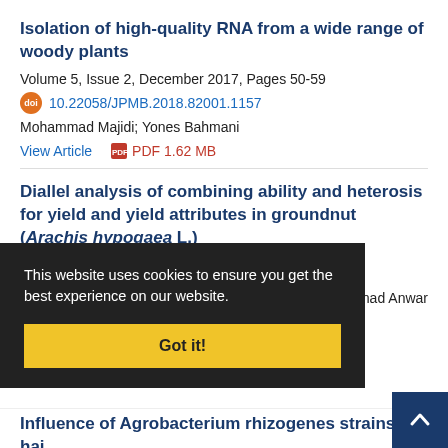Isolation of high-quality RNA from a wide range of woody plants
Volume 5, Issue 2, December 2017, Pages 50-59
10.22058/JPMB.2018.82001.1157
Mohammad Majidi; Yones Bahmani
View Article  PDF 1.62 MB
Diallel analysis of combining ability and heterosis for yield and yield attributes in groundnut (Arachis hypogaea L.)
Volume 7, Issue 2, December 2021, Pages 50-62
This website uses cookies to ensure you get the best experience on our website.
Got it!
hammad Anwar
Influence of Agrobacterium rhizogenes strains on hai